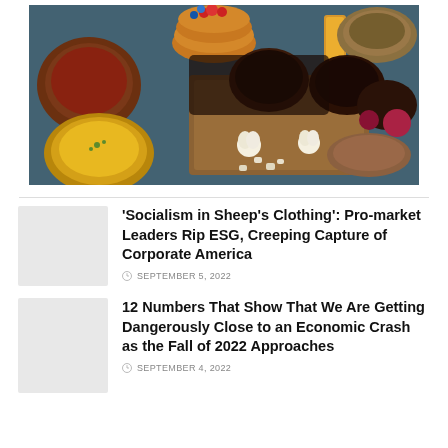[Figure (photo): Overhead shot of various food dishes including bowls of grains, soup, pancakes, fruits, and raw ingredients like garlic and onions arranged on a table]
'Socialism in Sheep's Clothing': Pro-market Leaders Rip ESG, Creeping Capture of Corporate America
SEPTEMBER 5, 2022
12 Numbers That Show That We Are Getting Dangerously Close to an Economic Crash as the Fall of 2022 Approaches
SEPTEMBER 4, 2022